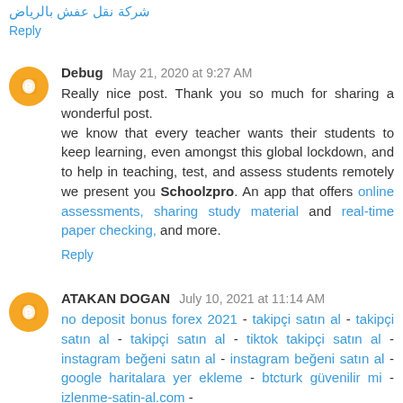شركة نقل عفش بالرياض
Reply
Debug May 21, 2020 at 9:27 AM
Really nice post. Thank you so much for sharing a wonderful post.
we know that every teacher wants their students to keep learning, even amongst this global lockdown, and to help in teaching, test, and assess students remotely we present you Schoolzpro. An app that offers online assessments, sharing study material and real-time paper checking, and more.
Reply
ATAKAN DOGAN July 10, 2021 at 11:14 AM
no deposit bonus forex 2021 - takipçi satın al - takipçi satın al - takipçi satın al - tiktok takipçi satın al - instagram beğeni satın al - instagram beğeni satın al - google haritalara yer ekleme - btcturk güvenilir mi - izlenme-satin-al.com -